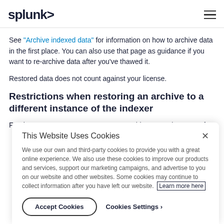splunk>
See "Archive indexed data" for information on how to archive data in the first place. You can also use that page as guidance if you want to re-archive data after you've thawed it.
Restored data does not count against your license.
Restrictions when restoring an archive to a different instance of the indexer
For the most part, you can restore an archive to any instance of
This Website Uses Cookies
We use our own and third-party cookies to provide you with a great online experience. We also use these cookies to improve our products and services, support our marketing campaigns, and advertise to you on our website and other websites. Some cookies may continue to collect information after you have left our website. Learn more here
Accept Cookies
Cookies Settings ›